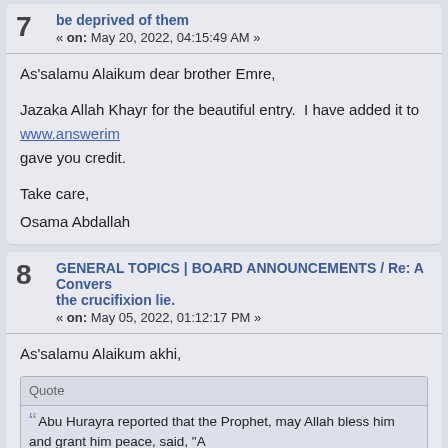be deprived of them
« on: May 20, 2022, 04:15:49 AM »
As'salamu Alaikum dear brother Emre,

Jazaka Allah Khayr for the beautiful entry.  I have added it to www.answerin… gave you credit.

Take care,
Osama Abdallah
8  GENERAL TOPICS | BOARD ANNOUNCEMENTS / Re: A Convers… the crucifixion lie.
« on: May 05, 2022, 01:12:17 PM »
As'salamu Alaikum akhi,
Quote

Abu Hurayra reported that the Prophet, may Allah bless him and grant him peace, said, "A… take his seat in the Fire. Anyone who gives his Muslim brother misguided advice whe… fatwa which is not firm, the wrong action of that rests on the one who gave the fatwa."